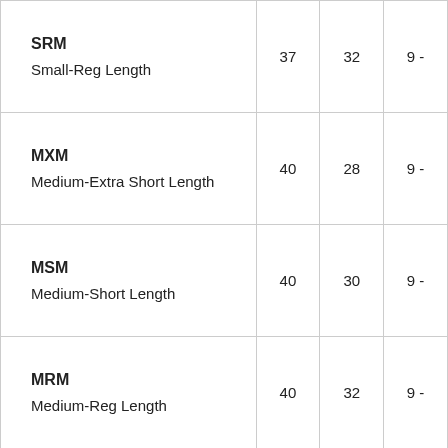| SRM
Small-Reg Length | 37 | 32 | 9- |
| MXM
Medium-Extra Short Length | 40 | 28 | 9- |
| MSM
Medium-Short Length | 40 | 30 | 9- |
| MRM
Medium-Reg Length | 40 | 32 | 9- |